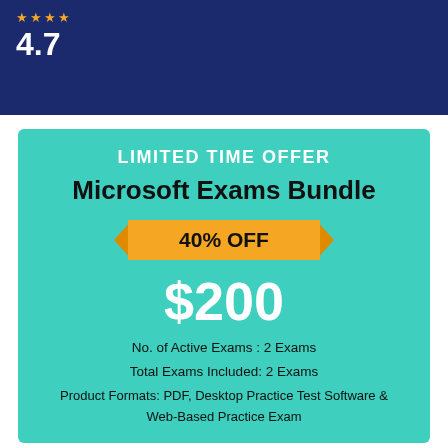4.7
[Figure (infographic): Limited time offer promotional card for Microsoft Exams Bundle with 40% OFF, price $200, teal background with ribbon badge]
LIMITED TIME OFFER
Microsoft Exams Bundle
40% OFF
$200
No. of Active Exams : 2 Exams
Total Exams Included: 2 Exams
Product Formats: PDF, Desktop Practice Test Software & Web-Based Practice Exam